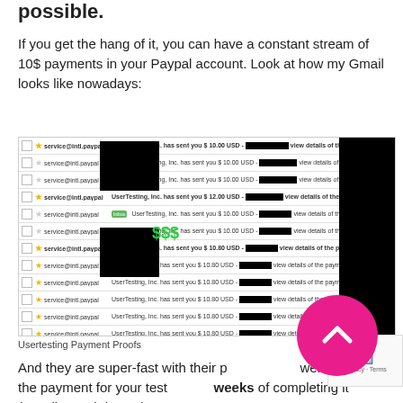possible.
If you get the hang of it, you can have a constant stream of 10$ payments in your Paypal account. Look at how my Gmail looks like nowadays:
[Figure (screenshot): Screenshot of Gmail inbox showing multiple PayPal payment notifications from UserTesting, Inc. for $10.00 USD and one for $70.00 USD, with some content redacted by black bars and a green $$$ money overlay.]
Usertesting Payment Proofs
And they are super-fast with their payments as well. You get the payment for your test within 2 weeks of completing it (usually much lesser).